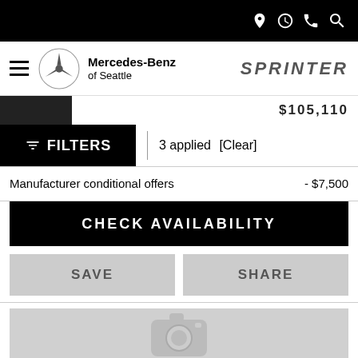Mercedes-Benz of Seattle — Sprinter — mobile dealership page
FILTERS | 3 applied [Clear]
Manufacturer conditional offers  - $7,500
CHECK AVAILABILITY
SAVE
SHARE
[Figure (photo): Car image placeholder (grey box with camera icon)]